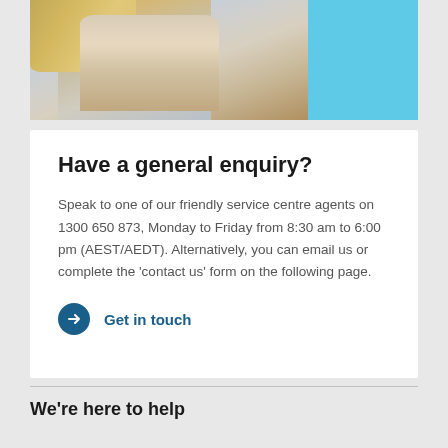[Figure (photo): Woman talking on phone, with light blue panel to the right]
Have a general enquiry?
Speak to one of our friendly service centre agents on 1300 650 873, Monday to Friday from 8:30 am to 6:00 pm (AEST/AEDT). Alternatively, you can email us or complete the 'contact us' form on the following page.
Get in touch
We're here to help